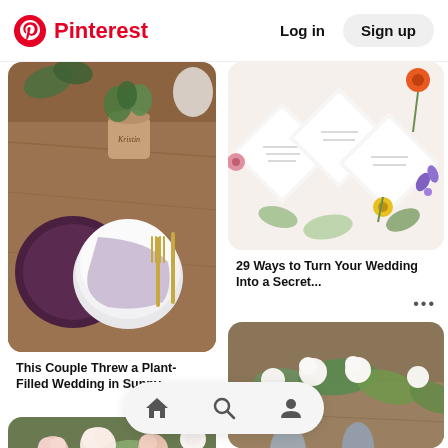Pinterest  Log in  Sign up
[Figure (photo): Wedding table setting with plant pot labeled 'Kristin', dark purple plate, white plates, gold cutlery on wooden table]
This Couple Threw a Plant-Filled Wedding in Sunny...
[Figure (photo): Wedding invitation cards laid flat with floral and botanical illustrations, colorful flowers scattered around]
29 Ways to Turn Your Wedding Into a Secret...
[Figure (photo): Wedding table centerpiece with white roses and eucalyptus greenery, blue glassware and blue napkins on wooden table]
[Figure (photo): Floral arrangement with blush pink and white roses with eucalyptus on wooden table, partially visible]
Home  Search  Profile